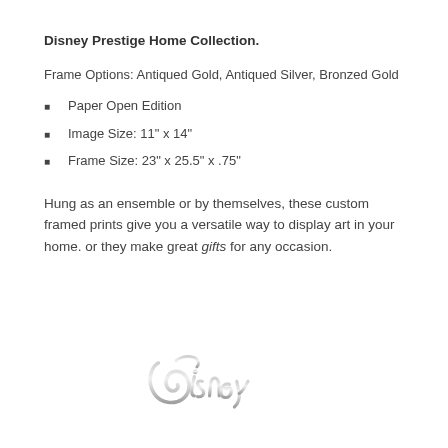Disney Prestige Home Collection.
Frame Options: Antiqued Gold, Antiqued Silver, Bronzed Gold
Paper Open Edition
Image Size: 11" x 14"
Frame Size: 23" x 25.5" x .75"
Hung as an ensemble or by themselves, these custom framed prints give you a versatile way to display art in your home. or they make great gifts for any occasion.
[Figure (logo): Disney logo in silver/grey script lettering]